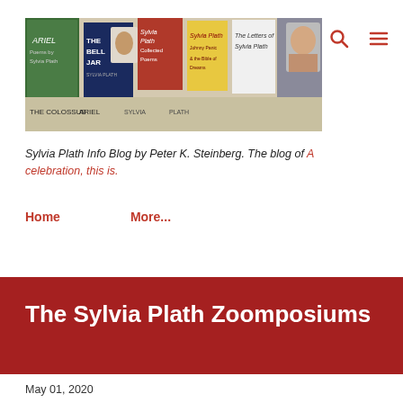[Figure (photo): Collage of Sylvia Plath book covers including Ariel, The Bell Jar, Collected Poems, The Colossus, and The Letters of Sylvia Plath]
Sylvia Plath Info Blog by Peter K. Steinberg. The blog of A celebration, this is.
Home
More...
The Sylvia Plath Zoomposiums
May 01, 2020